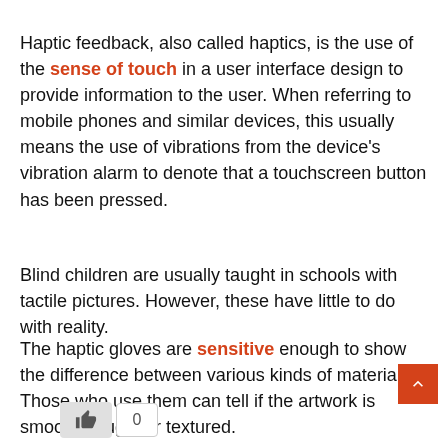Haptic feedback, also called haptics, is the use of the sense of touch in a user interface design to provide information to the user. When referring to mobile phones and similar devices, this usually means the use of vibrations from the device's vibration alarm to denote that a touchscreen button has been pressed.
Blind children are usually taught in schools with tactile pictures. However, these have little to do with reality.
The haptic gloves are sensitive enough to show the difference between various kinds of materials. Those who use them can tell if the artwork is smooth, rough, or textured.